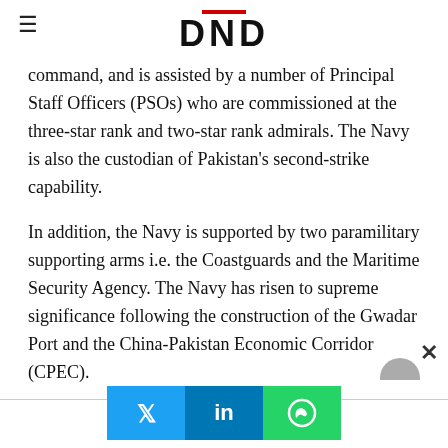DND
command, and is assisted by a number of Principal Staff Officers (PSOs) who are commissioned at the three-star rank and two-star rank admirals. The Navy is also the custodian of Pakistan's second-strike capability.
In addition, the Navy is supported by two paramilitary supporting arms i.e. the Coastguards and the Maritime Security Agency. The Navy has risen to supreme significance following the construction of the Gwadar Port and the China-Pakistan Economic Corridor (CPEC).